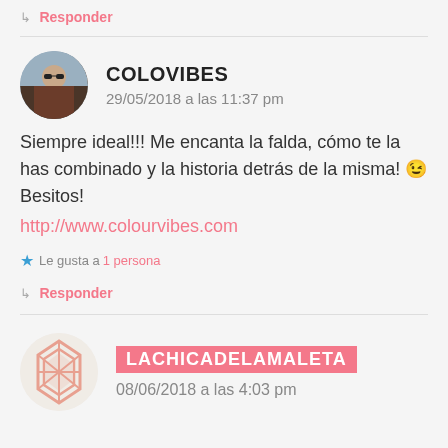↳ Responder
COLOVIBES
29/05/2018 a las 11:37 pm
Siempre ideal!!! Me encanta la falda, cómo te la has combinado y la historia detrás de la misma! 😉 Besitos!
http://www.colourvibes.com
Le gusta a 1 persona
↳ Responder
LACHICADELAMALETA
08/06/2018 a las 4:03 pm